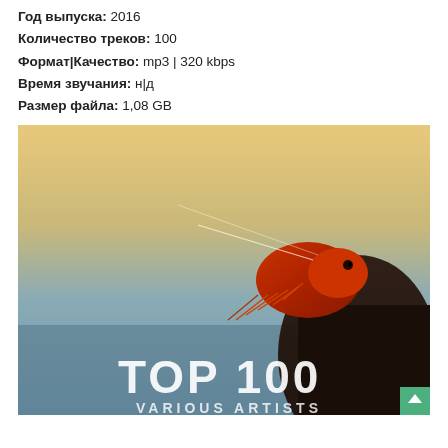Год выпуска: 2016
Количество треков: 100
Формат|Качество: mp3 | 320 kbps
Время звучания: н|д
Размер файла: 1,08 GB
[Figure (photo): Album cover photo showing a shrimp held between fingers against a gradient sky background, with 'TOP 100 VARIOUS ARTISTS' text at the bottom]